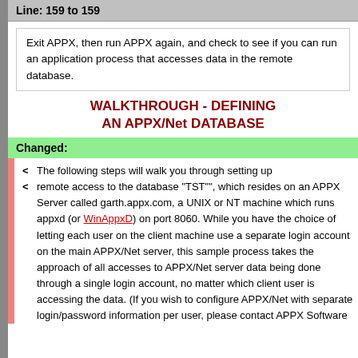Line: 159 to 159
Exit APPX, then run APPX again, and check to see if you can run an application process that accesses data in the remote database.
WALKTHROUGH - DEFINING AN APPX/Net DATABASE
Changed:
The following steps will walk you through setting up remote access to the database "TST"", which resides on an APPX Server called garth.appx.com, a UNIX or NT machine which runs appxd (or WinAppxD) on port 8060. While you have the choice of letting each user on the client machine use a separate login account on the main APPX/Net server, this sample process takes the approach of all accesses to APPX/Net server data being done through a single login account, no matter which client user is accessing the data. (If you wish to configure APPX/Net with separate login/password information per user, please contact APPX Software